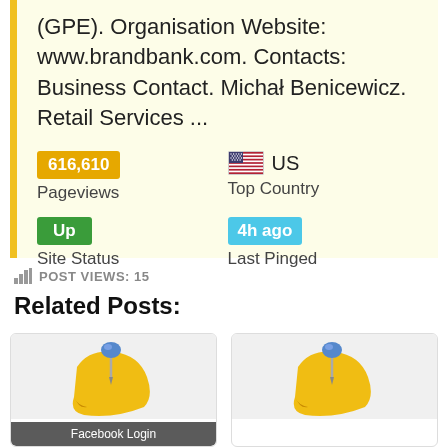(GPE). Organisation Website: www.brandbank.com. Contacts: Business Contact. Michał Benicewicz. Retail Services ...
616,610 Pageviews
US Top Country
Up Site Status
4h ago Last Pinged
POST VIEWS: 15
Related Posts:
[Figure (illustration): Blue pushpin on yellow sticky note - Related post thumbnail labeled Facebook Login]
[Figure (illustration): Blue pushpin on yellow sticky note - Related post thumbnail]